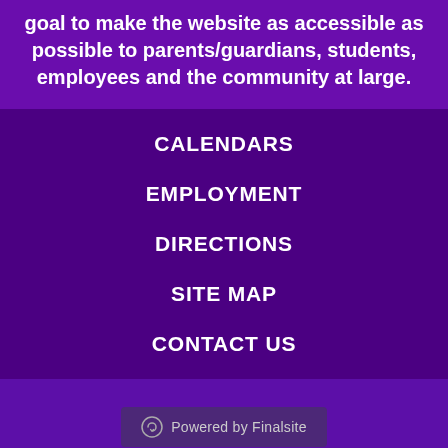goal to make the website as accessible as possible to parents/guardians, students, employees and the community at large.
CALENDARS
EMPLOYMENT
DIRECTIONS
SITE MAP
CONTACT US
Powered by Finalsite